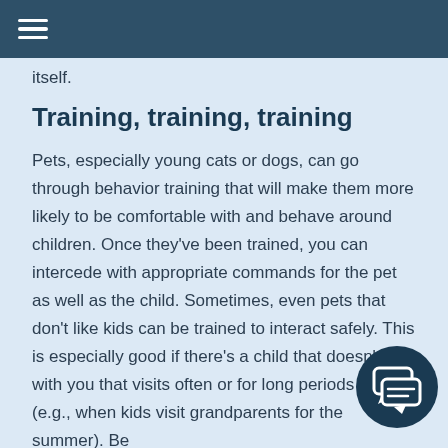itself.
Training, training, training
Pets, especially young cats or dogs, can go through behavior training that will make them more likely to be comfortable with and behave around children. Once they've been trained, you can intercede with appropriate commands for the pet as well as the child. Sometimes, even pets that don't like kids can be trained to interact safely. This is especially good if there's a child that doesn't live with you that visits often or for long periods of time (e.g., when kids visit grandparents for the summer). Be